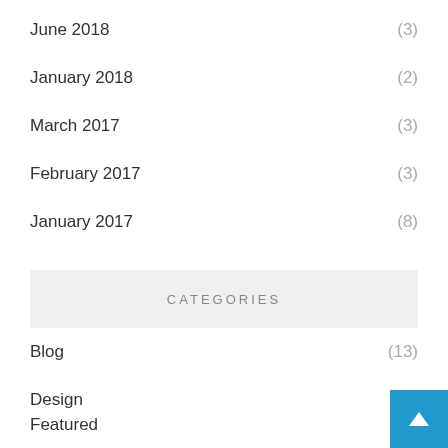June 2018 (3)
January 2018 (2)
March 2017 (3)
February 2017 (3)
January 2017 (8)
CATEGORIES
Blog (13)
Design (6)
Featured